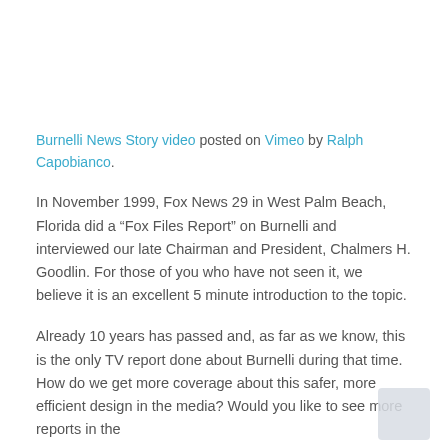Burnelli News Story video posted on Vimeo by Ralph Capobianco.
In November 1999, Fox News 29 in West Palm Beach, Florida did a “Fox Files Report” on Burnelli and interviewed our late Chairman and President, Chalmers H. Goodlin. For those of you who have not seen it, we believe it is an excellent 5 minute introduction to the topic.
Already 10 years has passed and, as far as we know, this is the only TV report done about Burnelli during that time. How do we get more coverage about this safer, more efficient design in the media? Would you like to see more reports in the